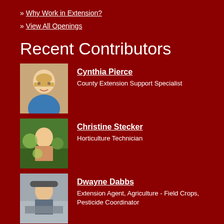» Why Work in Extension?
» View All Openings
Recent Contributors
Cynthia Pierce
County Extension Support Specialist
Christine Stecker
Horticulture Technician
Dwayne Dabbs
Extension Agent, Agriculture - Field Crops, Pesticide Coordinator
Elisa Phillips
Extension Agent, Family and Consumer Sciences